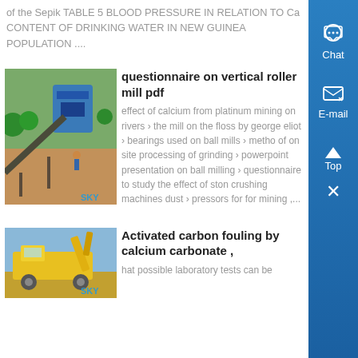of the Sepik TABLE 5 BLOOD PRESSURE IN RELATION TO Ca CONTENT OF DRINKING WATER IN NEW GUINEA POPULATION ....
[Figure (photo): Mining site with conveyor belt and blue crusher equipment, labeled SKY]
questionnaire on vertical roller mill pdf
effect of calcium from platinum mining on rivers › the mill on the floss by george eliot › bearings used on ball mills › metho of on site processing of grinding › powerpoint presentation on ball milling › questionnaire to study the effect of ston crushing machines dust › pressors for for mining ,...
[Figure (photo): Yellow heavy mining/drilling machine, labeled SKY]
Activated carbon fouling by calcium carbonate ,
hat possible laboratory tests can be